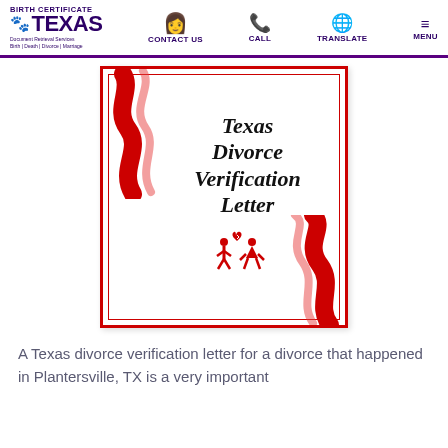Birth Certificate Texas — CONTACT US | CALL | TRANSLATE | MENU
[Figure (illustration): Texas Divorce Verification Letter certificate graphic with red ribbons, old-English title text, and a red couple-separating icon]
A Texas divorce verification letter for a divorce that happened in Plantersville, TX is a very important